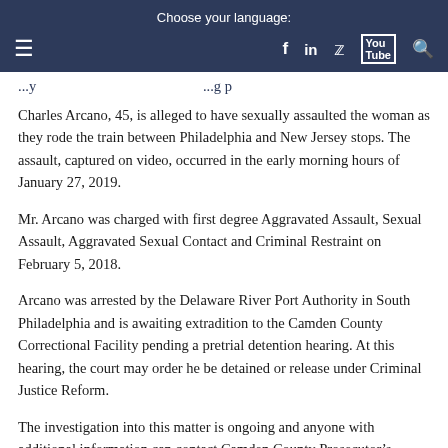Choose your language: f in [twitter] [youtube] [search]
Charles Arcano, 45, is alleged to have sexually assaulted the woman as they rode the train between Philadelphia and New Jersey stops. The assault, captured on video, occurred in the early morning hours of January 27, 2019.
Mr. Arcano was charged with first degree Aggravated Assault, Sexual Assault, Aggravated Sexual Contact and Criminal Restraint on February 5, 2018.
Arcano was arrested by the Delaware River Port Authority in South Philadelphia and is awaiting extradition to the Camden County Correctional Facility pending a pretrial detention hearing. At this hearing, the court may order he be detained or release under Criminal Justice Reform.
The investigation into this matter is ongoing and anyone with additional information can contact Camden County Prosecutor’s Office Detective Tanner Ogilvie at (856) 650-6398 or DRPA Corporal Joseph Ebling at (856) 969-7884.